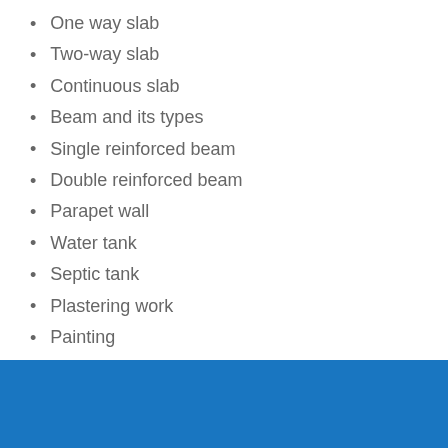One way slab
Two-way slab
Continuous slab
Beam and its types
Single reinforced beam
Double reinforced beam
Parapet wall
Water tank
Septic tank
Plastering work
Painting